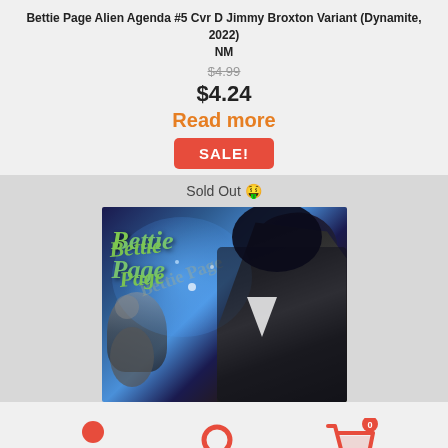Bettie Page Alien Agenda #5 Cvr D Jimmy Broxton Variant (Dynamite, 2022) NM
$4.99
$4.24
Read more
SALE!
Sold Out 🤑
[Figure (illustration): Comic book cover showing Bettie Page character with green script title text, dark hair, black outfit, against a blue cosmic background with alien elements]
[Figure (infographic): Bottom navigation bar with person icon, search icon, and shopping cart icon with badge showing 0]